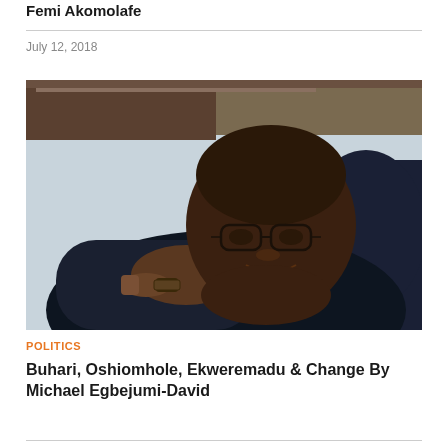Femi Akomolafe
July 12, 2018
[Figure (photo): Young man wearing glasses resting his head on his arm, smiling, wearing a dark shirt and watch]
POLITICS
Buhari, Oshiomhole, Ekweremadu & Change By Michael Egbejumi-David